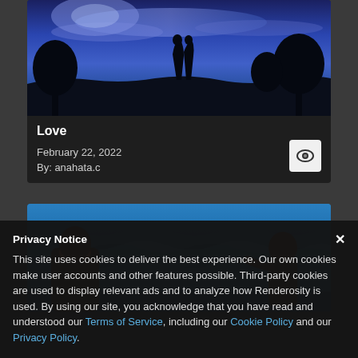[Figure (photo): Silhouette of two people standing on a hill with trees against a dramatic blue twilight sky]
Love
February 22, 2022
By: anahata.c
[Figure (photo): Two people in ocean water, one with orange on their back facing away, another person facing toward the camera]
Privacy Notice
This site uses cookies to deliver the best experience. Our own cookies make user accounts and other features possible. Third-party cookies are used to display relevant ads and to analyze how Renderosity is used. By using our site, you acknowledge that you have read and understood our Terms of Service, including our Cookie Policy and our Privacy Policy.